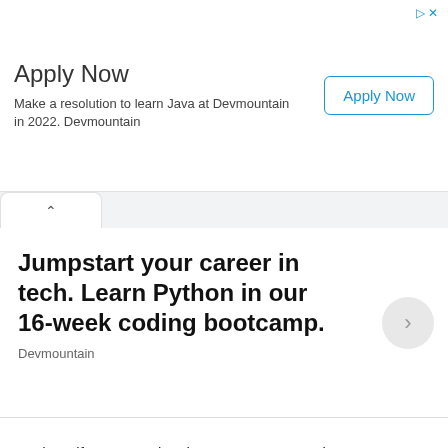[Figure (screenshot): Advertisement banner: Apply Now - Make a resolution to learn Java at Devmountain in 2022. Devmountain, with an Apply Now button.]
Apply Now
Make a resolution to learn Java at Devmountain in 2022. Devmountain
[Figure (screenshot): Advertisement card: Jumpstart your career in tech. Learn Python in our 16-week coding bootcamp. Devmountain]
Jumpstart your career in tech. Learn Python in our 16-week coding bootcamp.
Devmountain
In short, if you are using the CLASSPATH environment